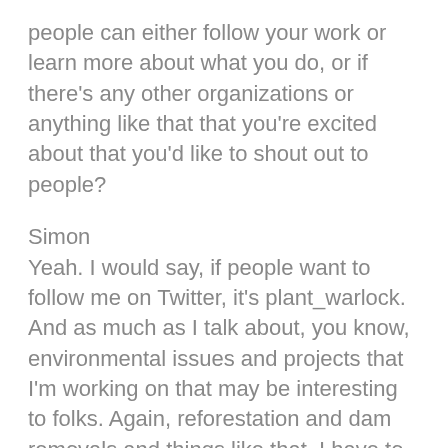people can either follow your work or learn more about what you do, or if there's any other organizations or anything like that that you're excited about that you'd like to shout out to people?
Simon
Yeah. I would say, if people want to follow me on Twitter, it's plant_warlock. And as much as I talk about, you know, environmental issues and projects that I'm working on that may be interesting to folks. Again, reforestation and dam removals and things like that. I have to admit, I also just talk a lot about how terrible our mayor is and things like that. But I would also say for people local to Portland, if they're interested in tree planting, we have a great